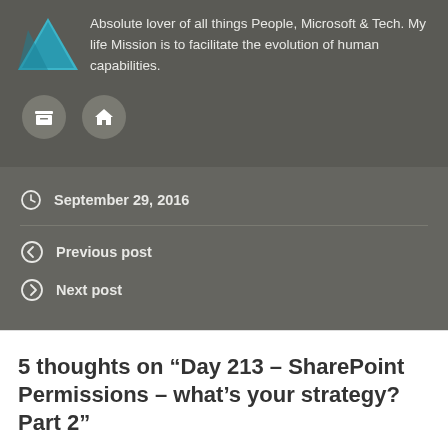Absolute lover of all things People, Microsoft & Tech. My life Mission is to facilitate the evolution of human capabilities.
[Figure (illustration): Two circular icon buttons: an archive/box icon and a home icon, on a dark grey background]
September 29, 2016
Previous post
Next post
5 thoughts on “Day 213 – SharePoint Permissions – what’s your strategy? Part 2”